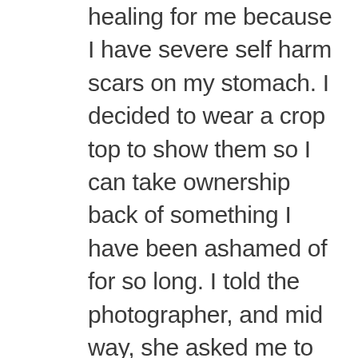healing for me because I have severe self harm scars on my stomach. I decided to wear a crop top to show them so I can take ownership back of something I have been ashamed of for so long. I told the photographer, and mid way, she asked me to adjust so she could see my “beautiful scars.” I cried off and on about this for the rest of the retreat. To have someone approach me with such compassion for something I’m so ashamed of… I’m crying just writing this. Everyone stressed how they love their job to help women like us. Everything is